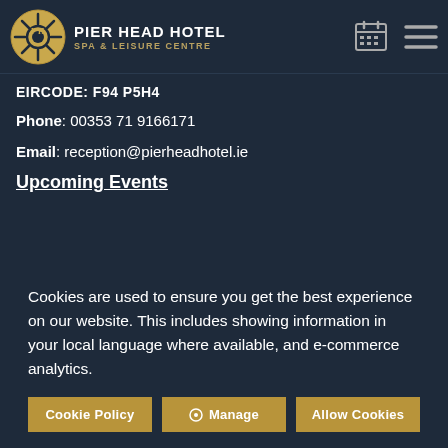PIER HEAD HOTEL SPA & LEISURE CENTRE
EIRCODE: F94 P5H4
Phone: 00353 71 9166171
Email: reception@pierheadhotel.ie
Upcoming Events
Cookies are used to ensure you get the best experience on our website. This includes showing information in your local language where available, and e-commerce analytics.
Cookie Policy | Manage | Allow Cookies